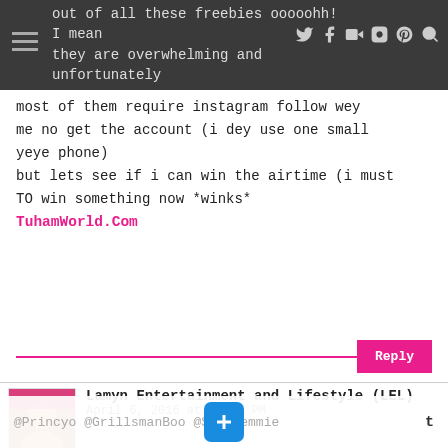out of all these freebies ooooohh! I mean they are overwhelming and unfortunately most of them require instagram follow wey me no get the account (i dey use one small yeye phone) but lets see if i can win the airtime (i must TO win something now *winks* TuhamWorld.Com
out of all these freebies ooooohh! I mean they are overwhelming and unfortunately most of them require instagram follow wey me no get the account (i dey use one small yeye phone)
but lets see if i can win the airtime (i must TO win something now *winks*
TuhamWorld.Com
Reply
Lamyn Entertainment and Lifestyle (LEL)
April 6, 2016 at 12:42 PM
I want to win (A weekend stay for 2 at Intercontinental Hotel) from sisi yemmie blog giveaway. Courtesy @Inter... @Princyo @GrillsmanBoo @SisiYemmie